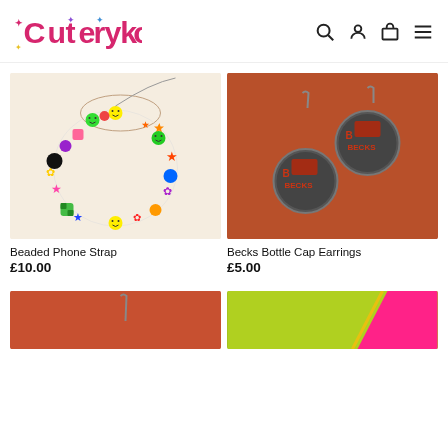Cuteryko
[Figure (photo): Beaded phone strap with colorful smiley face beads, stars, flowers on a cream background]
Beaded Phone Strap
£10.00
[Figure (photo): Two Becks beer bottle cap earrings on hooks against orange/rust background]
Becks Bottle Cap Earrings
£5.00
[Figure (photo): Partial view of bottom product cards - left shows orange/rust product, right shows neon yellow-green product]
[Figure (photo): Partial neon yellow-green product image]